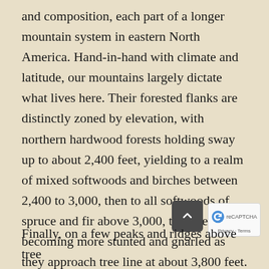and composition, each part of a longer mountain system in eastern North America. Hand-in-hand with climate and latitude, our mountains largely dictate what lives here. Their forested flanks are distinctly zoned by elevation, with northern hardwood forests holding sway up to about 2,400 feet, yielding to a realm of mixed softwoods and birches between 2,400 to 3,000, then to all softwoods of spruce and fir above 3,000, the trees becoming more stunted and gnarled as they approach tree line at about 3,800 feet.
Finally, on a few peaks and ridges above tree